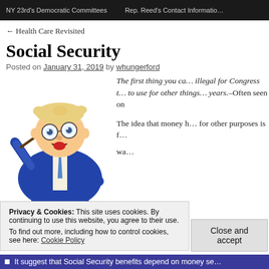NY 23rd's Democratic Committees    Rep. Reed's Contact Information
← Health Care Revisited
Social Security
Posted on January 31, 2019 by whungerford
[Figure (illustration): Cartoon illustration of a man in a blue suit holding a pointer stick, wearing glasses, with an open mouth as if teaching or explaining something.]
The first thing you ca… illegal for Congress t… to use for other things… years.–Often seen on

The idea that money h… for other purposes is f… wa…

…o…
Privacy & Cookies: This site uses cookies. By continuing to use this website, you agree to their use.
To find out more, including how to control cookies, see here: Cookie Policy
Close and accept
It suggest that Social Security benefits depend on money se…